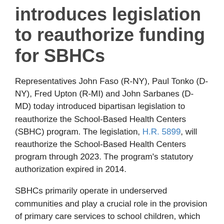introduces legislation to reauthorize funding for SBHCs
Representatives John Faso (R-NY), Paul Tonko (D-NY), Fred Upton (R-MI) and John Sarbanes (D-MD) today introduced bipartisan legislation to reauthorize the School-Based Health Centers (SBHC) program. The legislation, H.R. 5899, will reauthorize the School-Based Health Centers program through 2023. The program's statutory authorization expired in 2014.
SBHCs primarily operate in underserved communities and play a crucial role in the provision of primary care services to school children, which also includes dental screenings and mental health services. SBHCs have become increasingly important as opioid abuse has become more common amongst students who have visited a doctor for an injury or had surgeries.